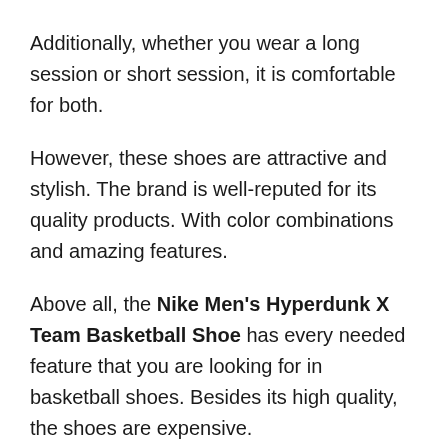Additionally, whether you wear a long session or short session, it is comfortable for both.
However, these shoes are attractive and stylish. The brand is well-reputed for its quality products. With color combinations and amazing features.
Above all, the Nike Men's Hyperdunk X Team Basketball Shoe has every needed feature that you are looking for in basketball shoes. Besides its high quality, the shoes are expensive.
What We Like